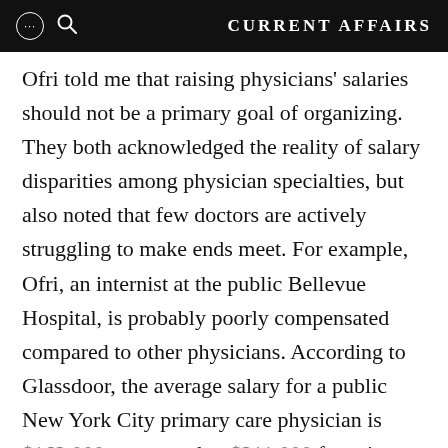CURRENT AFFAIRS
Ofri told me that raising physicians' salaries should not be a primary goal of organizing. They both acknowledged the reality of salary disparities among physician specialties, but also noted that few doctors are actively struggling to make ends meet. For example, Ofri, an internist at the public Bellevue Hospital, is probably poorly compensated compared to other physicians. According to Glassdoor, the average salary for a public New York City primary care physician is $162,000, compared to $211,000 for primary care physicians in New York City generally, which is